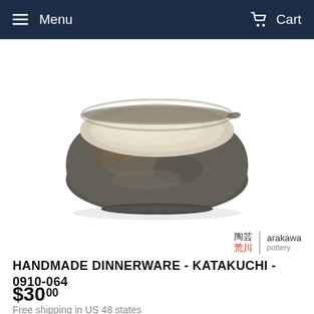Menu  Cart
[Figure (photo): Handmade Japanese ceramic bowl (katakuchi) with dark grey/brown stoneware exterior and cream interior glaze, photographed on white background]
[Figure (logo): Arakawa Pottery logo with Japanese kanji characters and text 'arakawa pottery']
HANDMADE DINNERWARE - KATAKUCHI - 0910-064
$30.00
Free shipping in US 48 states